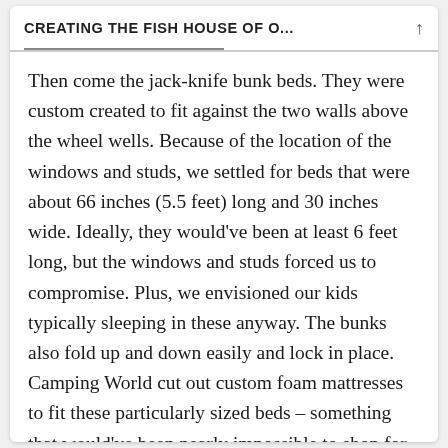CREATING THE FISH HOUSE OF O...
Then come the jack-knife bunk beds. They were custom created to fit against the two walls above the wheel wells. Because of the location of the windows and studs, we settled for beds that were about 66 inches (5.5 feet) long and 30 inches wide. Ideally, they would've been at least 6 feet long, but the windows and studs forced us to compromise. Plus, we envisioned our kids typically sleeping in these anyway. The bunks also fold up and down easily and lock in place. Camping World cut out custom foam mattresses to fit these particularly sized beds – something that would've been nearly impossible to shop for.